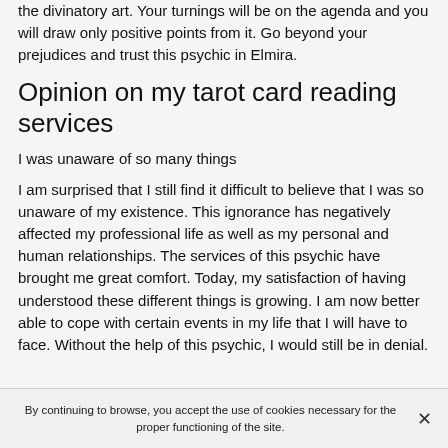the divinatory art. Your turnings will be on the agenda and you will draw only positive points from it. Go beyond your prejudices and trust this psychic in Elmira.
Opinion on my tarot card reading services
I was unaware of so many things
I am surprised that I still find it difficult to believe that I was so unaware of my existence. This ignorance has negatively affected my professional life as well as my personal and human relationships. The services of this psychic have brought me great comfort. Today, my satisfaction of having understood these different things is growing. I am now better able to cope with certain events in my life that I will have to face. Without the help of this psychic, I would still be in denial.
By continuing to browse, you accept the use of cookies necessary for the proper functioning of the site.